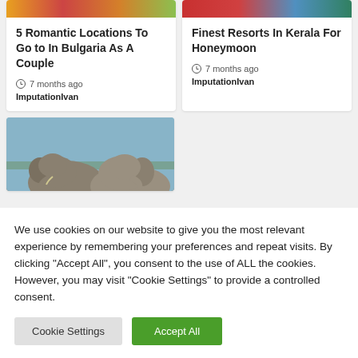[Figure (photo): Colorful food image at top of left card]
5 Romantic Locations To Go to In Bulgaria As A Couple
7 months ago
ImputationIvan
[Figure (photo): Water/river landscape image at top of right card]
Finest Resorts In Kerala For Honeymoon
7 months ago
ImputationIvan
[Figure (photo): Photo of elephants in a field with sky background]
We use cookies on our website to give you the most relevant experience by remembering your preferences and repeat visits. By clicking “Accept All”, you consent to the use of ALL the cookies. However, you may visit “Cookie Settings” to provide a controlled consent.